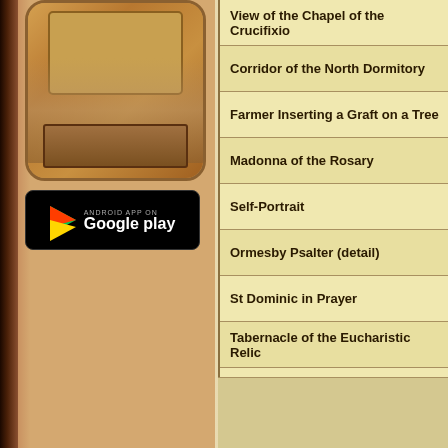[Figure (screenshot): App icon for an art/history reference app showing a scroll and building illustration on a tan/brown background]
[Figure (screenshot): Google Play store badge with colorful triangle logo and 'Google play' text on black background]
View of the Chapel of the Crucifixio
Corridor of the North Dormitory
Farmer Inserting a Graft on a Tree
Madonna of the Rosary
Self-Portrait
Ormesby Psalter (detail)
St Dominic in Prayer
Tabernacle of the Eucharistic Relic
Antiphonary (Folio 5)
Libro del Biadaiolo